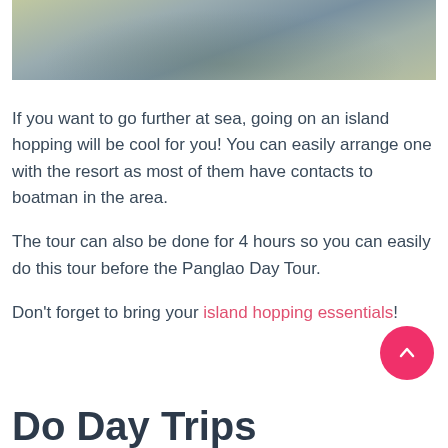[Figure (photo): A photo of water/sea surface with reflections of light, partial view of a waterway or coastal scene]
If you want to go further at sea, going on an island hopping will be cool for you! You can easily arrange one with the resort as most of them have contacts to boatman in the area.
The tour can also be done for 4 hours so you can easily do this tour before the Panglao Day Tour.
Don't forget to bring your island hopping essentials!
Do Day Trips